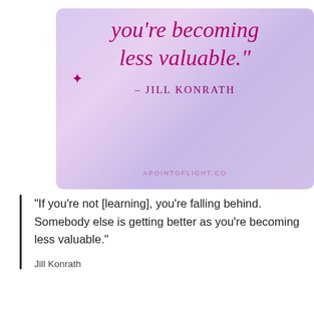[Figure (illustration): Decorative quote card with purple/lavender gradient background showing a Jill Konrath quote in pink serif italic text: 'you're becoming less valuable.' with attribution '- JILL KONRATH' and website 'APOINTOFLIGHT.CO']
“If you’re not [learning], you’re falling behind. Somebody else is getting better as you’re becoming less valuable.”
Jill Konrath